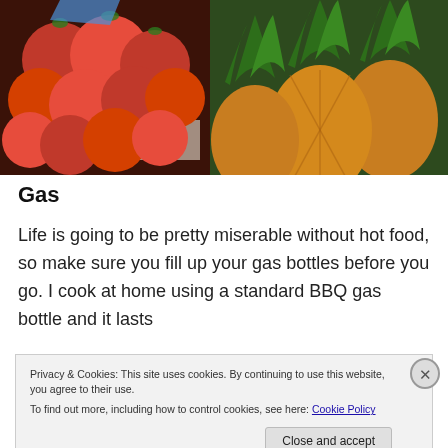[Figure (photo): Split photo: left half shows red tomatoes at a market stall, right half shows golden pineapples]
Gas
Life is going to be pretty miserable without hot food, so make sure you fill up your gas bottles before you go. I cook at home using a standard BBQ gas bottle and it lasts
Privacy & Cookies: This site uses cookies. By continuing to use this website, you agree to their use.
To find out more, including how to control cookies, see here: Cookie Policy
Close and accept